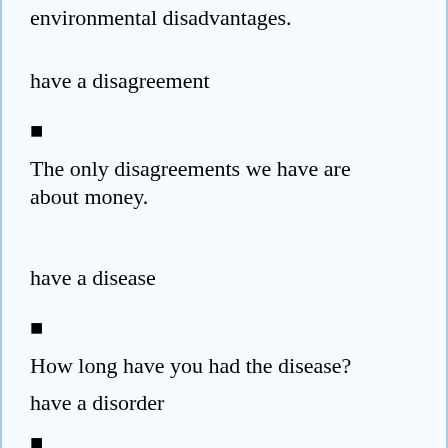environmental disadvantages.
have a disagreement
▪
The only disagreements we have are about money.
have a disease
▪
How long have you had the disease?
have a disorder
▪